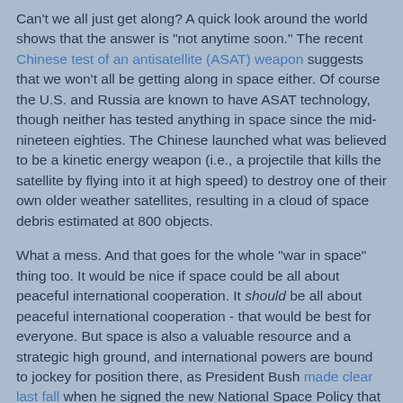Can't we all just get along? A quick look around the world shows that the answer is "not anytime soon." The recent Chinese test of an antisatellite (ASAT) weapon suggests that we won't all be getting along in space either. Of course the U.S. and Russia are known to have ASAT technology, though neither has tested anything in space since the mid-nineteen eighties. The Chinese launched what was believed to be a kinetic energy weapon (i.e., a projectile that kills the satellite by flying into it at high speed) to destroy one of their own older weather satellites, resulting in a cloud of space debris estimated at 800 objects.
What a mess. And that goes for the whole "war in space" thing too. It would be nice if space could be all about peaceful international cooperation. It should be all about peaceful international cooperation - that would be best for everyone. But space is also a valuable resource and a strategic high ground, and international powers are bound to jockey for position there, as President Bush made clear last fall when he signed the new National Space Policy that declared that "freedom of action in space is as important to the United States as air power and sea power." Actions